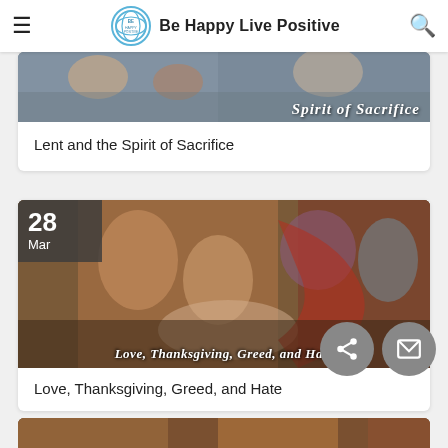Be Happy Live Positive
[Figure (photo): Partial view of religious painting with text 'Spirit of Sacrifice' overlay]
Lent and the Spirit of Sacrifice
[Figure (photo): Religious painting (Last Supper or similar) with date badge '28 Mar' and title 'Love, Thanksgiving, Greed, and Hate']
Love, Thanksgiving, Greed, and Hate
[Figure (photo): Partial view of another religious painting at bottom of page]